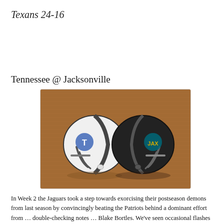Texans 24-16
Tennessee @ Jacksonville
[Figure (photo): Two mini NFL helmets facing each other on a wooden surface — a white Tennessee Titans helmet on the left and a dark Jacksonville Jaguars helmet on the right.]
In Week 2 the Jaguars took a step towards exorcising their postseason demons from last season by convincingly beating the Patriots behind a dominant effort from … double-checking notes … Blake Bortles. We've seen occasional flashes of brilliance from Bortles before that remind us that he was indeed the 3rd overall